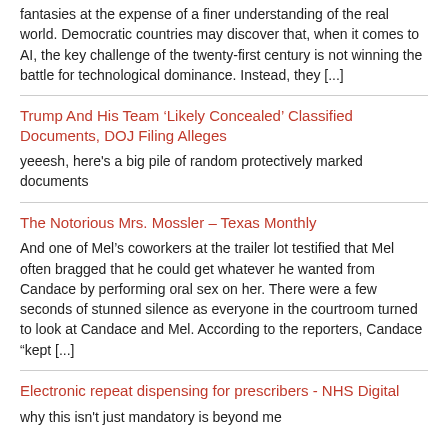fantasies at the expense of a finer understanding of the real world. Democratic countries may discover that, when it comes to AI, the key challenge of the twenty-first century is not winning the battle for technological dominance. Instead, they [...]
Trump And His Team ‘Likely Concealed’ Classified Documents, DOJ Filing Alleges
yeeesh, here's a big pile of random protectively marked documents
The Notorious Mrs. Mossler – Texas Monthly
And one of Mel’s coworkers at the trailer lot testified that Mel often bragged that he could get whatever he wanted from Candace by performing oral sex on her. There were a few seconds of stunned silence as everyone in the courtroom turned to look at Candace and Mel. According to the reporters, Candace “kept [...]
Electronic repeat dispensing for prescribers - NHS Digital
why this isn't just mandatory is beyond me